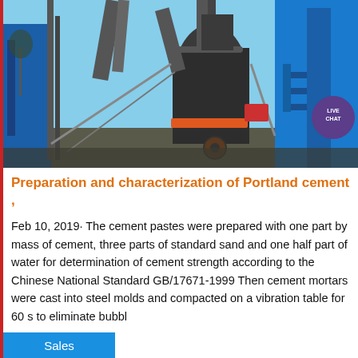[Figure (photo): Industrial cement grinding mill equipment with large cylindrical tanks, pipes, and blue steel frame structure outdoors on a clear day]
Preparation and characterization of Portland cement ,
Feb 10, 2019· The cement pastes were prepared with one part by mass of cement, three parts of standard sand and one half part of water for determination of cement strength according to the Chinese National Standard GB/17671-1999 Then cement mortars were cast into steel molds and compacted on a vibration table for 60 s to eliminate bubbl